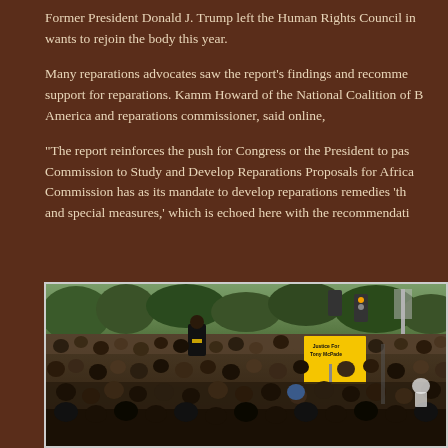Former President Donald J. Trump left the Human Rights Council in [2018] and [the Biden administration] wants to rejoin the body this year.
Many reparations advocates saw the report's findings and recommendations as [additional] support for reparations. Kamm Howard of the National Coalition of B[lacks for Reparations in] America and reparations commissioner, said online,
“The report reinforces the push for Congress or the President to pas[s HR 40 — the] Commission to Study and Develop Reparations Proposals for Africa[n Americans. This] Commission has as its mandate to develop reparations remedies ‘th[at include forms] and special measures,’ which is echoed here with the recommendati[ons …”]
[Figure (photo): A large outdoor protest crowd scene with many people gathered, trees in background, a speaker or performer elevated above the crowd, and a prominent yellow sign reading 'Justice For Tony McDade' visible in the right-center area.]